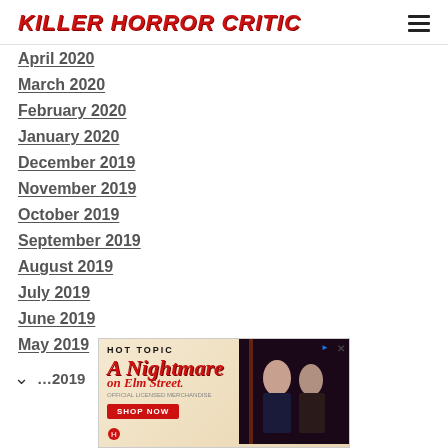KILLER HORROR CRITIC
April 2020
March 2020
February 2020
January 2020
December 2019
November 2019
October 2019
September 2019
August 2019
July 2019
June 2019
May 2019
[Figure (advertisement): Hot Topic advertisement for A Nightmare on Elm Street merchandise with Shop Now button and photo of two people in horror-themed clothing]